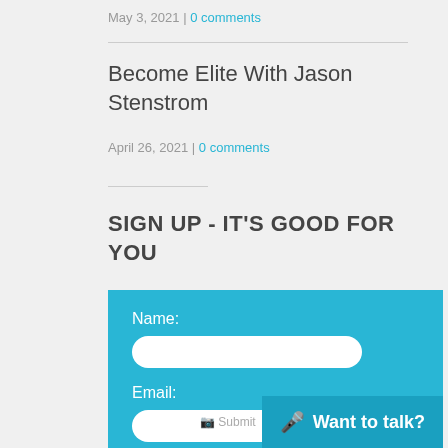May 3, 2021 | 0 comments
Become Elite With Jason Stenstrom
April 26, 2021 | 0 comments
SIGN UP - IT'S GOOD FOR YOU
Name:
Email:
Submit
Want to talk?